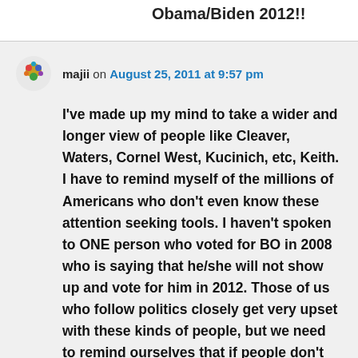Obama/Biden 2012!!
majii on August 25, 2011 at 9:57 pm
I've made up my mind to take a wider and longer view of people like Cleaver, Waters, Cornel West, Kucinich, etc, Keith. I have to remind myself of the millions of Americans who don't even know these attention seeking tools. I haven't spoken to ONE person who voted for BO in 2008 who is saying that he/she will not show up and vote for him in 2012. Those of us who follow politics closely get very upset with these kinds of people, but we need to remind ourselves that if people don't know